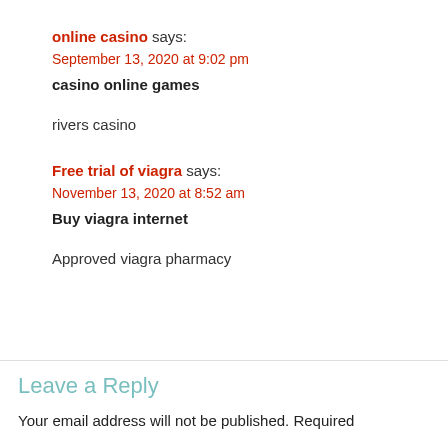online casino says:
September 13, 2020 at 9:02 pm
casino online games
rivers casino
Free trial of viagra says:
November 13, 2020 at 8:52 am
Buy viagra internet
Approved viagra pharmacy
Leave a Reply
Your email address will not be published. Required